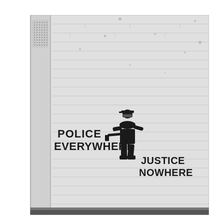[Figure (photo): Black and white photograph of a white brick wall with stencil street art. On the left side of the wall is a vertical pillar/column. In the upper left corner there is a dotted grid pattern (ventilation or speaker grille). The main graffiti stencil shows a police officer figure holding a rifle, with two text phrases: 'POLICE EVERYWHERE' to the left of the figure, and 'JUSTICE NOWHERE' to the right below the figure. Both phrases are in bold stencil-style capital letters. The wall has various dark spots and smudges. The bottom of the image shows a dark strip (ground/pavement).]